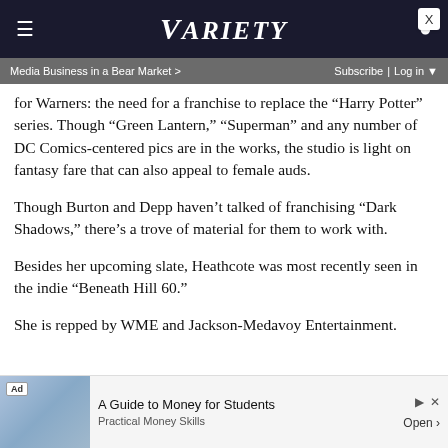VARIETY
Media Business in a Bear Market > Subscribe | Log in
for Warners: the need for a franchise to replace the “Harry Potter” series. Though “Green Lantern,” “Superman” and any number of DC Comics-centered pics are in the works, the studio is light on fantasy fare that can also appeal to female auds.
Though Burton and Depp haven’t talked of franchising “Dark Shadows,” there’s a trove of material for them to work with.
Besides her upcoming slate, Heathcote was most recently seen in the indie “Beneath Hill 60.”
She is repped by WME and Jackson-Medavoy Entertainment.
[Figure (other): Advertisement banner: A Guide to Money for Students - Practical Money Skills, Open button]